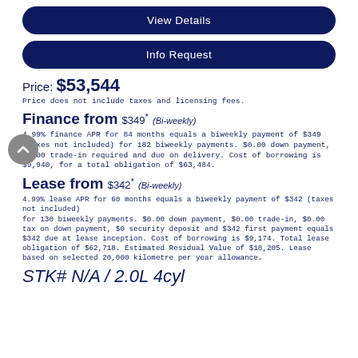View Details
Info Request
Price: $53,544
Price does not include taxes and licensing fees.
Finance from $349* (Bi-weekly)
4.99% finance APR for 84 months equals a biweekly payment of $349 (taxes not included) for 182 biweekly payments. $0.00 down payment, $0.00 trade-in required and due on delivery. Cost of borrowing is $9,940, for a total obligation of $63,484.
Lease from $342* (Bi-weekly)
4.99% lease APR for 60 months equals a biweekly payment of $342 (taxes not included) for 130 biweekly payments. $0.00 down payment, $0.00 trade-in, $0.00 tax on down payment, $0 security deposit and $342 first payment equals $342 due at lease inception. Cost of borrowing is $9,174. Total lease obligation of $62,718. Estimated Residual Value of $18,205. Lease based on selected 20,000 kilometre per year allowance.
STK# N/A / 2.0L 4cyl